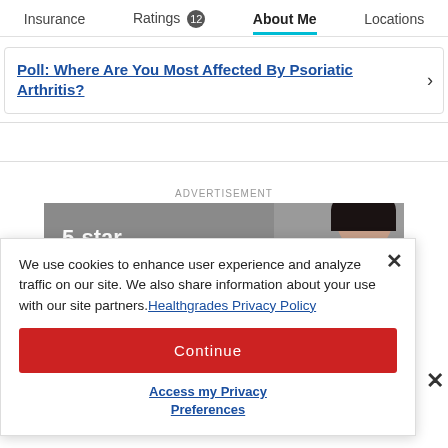Insurance   Ratings 12   About Me   Locations
Poll: Where Are You Most Affected By Psoriatic Arthritis?
ADVERTISEMENT
[Figure (photo): Advertisement image showing '5-star' text with a woman with dark hair in the background]
We use cookies to enhance user experience and analyze traffic on our site. We also share information about your use with our site partners. Healthgrades Privacy Policy
Continue
Access my Privacy Preferences